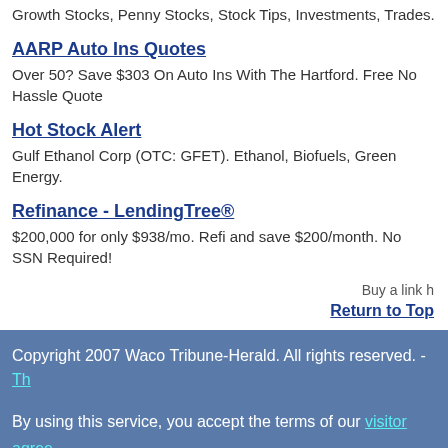Growth Stocks, Penny Stocks, Stock Tips, Investments, Trades.
AARP Auto Ins Quotes
Over 50? Save $303 On Auto Ins With The Hartford. Free No Hassle Quote
Hot Stock Alert
Gulf Ethanol Corp (OTC: GFET). Ethanol, Biofuels, Green Energy.
Refinance - LendingTree®
$200,000 for only $938/mo. Refi and save $200/month. No SSN Required!
Buy a link h
Return to Top
Copyright 2007 Waco Tribune-Herald. All rights reserved. - Th
By using this service, you accept the terms of our visitor agree Registered site users, you may edit your profile. Having trouble? Visit our help & FAQ.